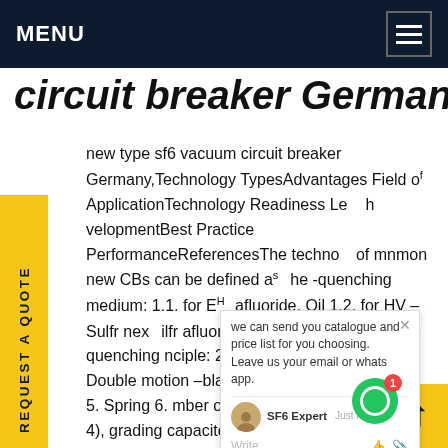MENU
circuit breaker Germany
new type sf6 vacuum circuit breaker Germany,Technology TypesAdvantages Field of ApplicationTechnology Readiness Level DevelopmentBest Practice PerformanceReferencesThe technology of common new CBs can be defined as the arc-quenching medium: 1.1. for EHV - Sulfr hexafluoride, Oil 1.2. for HV - Sulfr nexafluoride-free, Oil, vacuum 2. Arc-quenching principle: 2.1. blast 2.2. Self-blast 2.3. Double motion -blast 3. Drive type 4. Hydraulic 5. Spring 6. Number of series breaking units (1,2 or 4), grading capacitors or energisation resistors 7. DesiSee more on entsoe.euSwitchgear⊠Vacuum circuit breaker Load switch - Products - liyond/productsProducts.